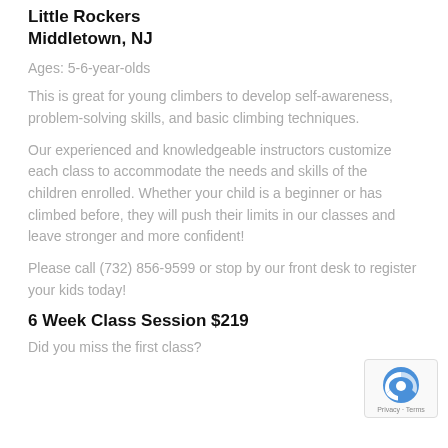Little Rockers
Middletown, NJ
Ages: 5-6-year-olds
This is great for young climbers to develop self-awareness, problem-solving skills, and basic climbing techniques.
Our experienced and knowledgeable instructors customize each class to accommodate the needs and skills of the children enrolled. Whether your child is a beginner or has climbed before, they will push their limits in our classes and leave stronger and more confident!
Please call (732) 856-9599 or stop by our front desk to register your kids today!
6 Week Class Session $219
Did you miss the first class?